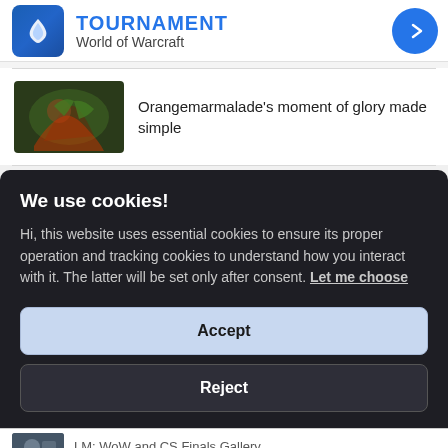TOURNAMENT — World of Warcraft
Orangemarmalade's moment of glory made simple
We use cookies!
Hi, this website uses essential cookies to ensure its proper operation and tracking cookies to understand how you interact with it. The latter will be set only after consent. Let me choose
Accept
Reject
LM: WoW and CS Finals Gallery